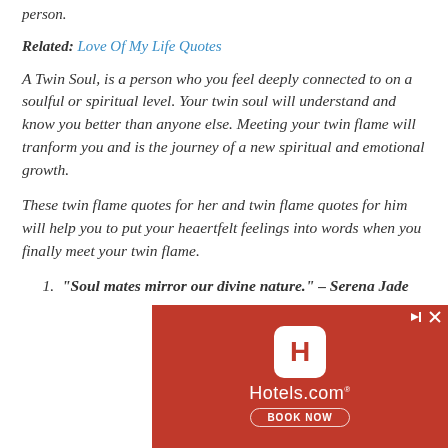person.
Related: Love Of My Life Quotes
A Twin Soul, is a person who you feel deeply connected to on a soulful or spiritual level. Your twin soul will understand and know you better than anyone else. Meeting your twin flame will tranform you and is the journey of a new spiritual and emotional growth.
These twin flame quotes for her and twin flame quotes for him will help you to put your heaertfelt feelings into words when you finally meet your twin flame.
"Soul mates mirror our divine nature." – Serena Jade
[Figure (other): Hotels.com advertisement banner with red background, Hotels.com logo icon, brand name, and BOOK NOW button]